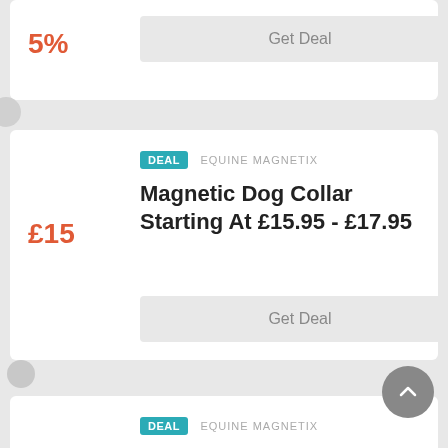5%
Get Deal
£15
DEAL  EQUINE MAGNETIX
Magnetic Dog Collar Starting At £15.95 - £17.95
Get Deal
$82
DEAL  EQUINE MAGNETIX
Magnetic Dog Coat At Just $82.73 At Equine Magnetix
Get Deal